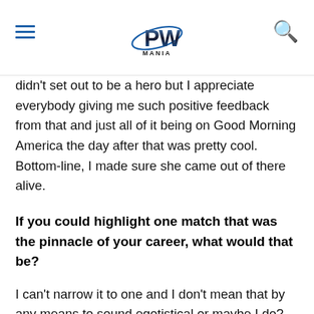PW MANIA (logo)
didn't set out to be a hero but I appreciate everybody giving me such positive feedback from that and just all of it being on Good Morning America the day after that was pretty cool. Bottom-line, I made sure she came out of there alive.
If you could highlight one match that was the pinnacle of your career, what would that be?
I can't narrow it to one and I don't mean that by any means to sound egotistical or maybe I do? (chuckles) I can tell you a handful of matches that stand out to me as matches that were pinnacles. I've had three matches that were with a young talent in England named Chris Travis and he's like a young Shawn Michaels. We wrestled one match and then the crowd demanded another match and then they demanded